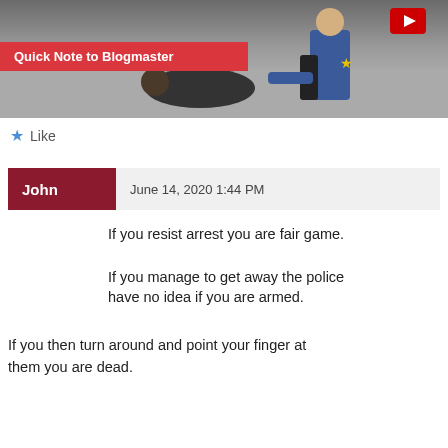[Figure (screenshot): Video thumbnail showing a police officer and a person on the ground, with a red banner overlay reading 'Quick Note to Blogmaster' and a YouTube play button icon in the top right.]
Like
John   June 14, 2020 1:44 PM
If you resist arrest you are fair game.
If you manage to get away the police have no idea if you are armed.
If you then turn around and point your finger at them you are dead.